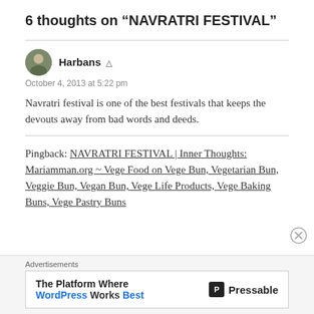6 thoughts on “NAVRATRI FESTIVAL”
Harbans
October 4, 2013 at 5:22 pm
Navratri festival is one of the best festivals that keeps the devouts away from bad words and deeds.
Pingback: NAVRATRI FESTIVAL | Inner Thoughts: Mariamman.org ~ Vege Food on Vege Bun, Vegetarian Bun, Veggie Bun, Vegan Bun, Vege Life Products, Vege Baking Buns, Vege Pastry Buns
Advertisements
The Platform Where WordPress Works Best   Pressable